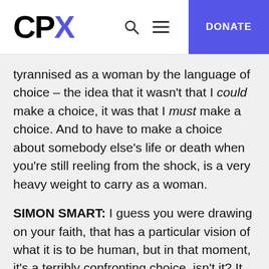CPX — DONATE
tyrannised as a woman by the language of choice – the idea that it wasn't that I could make a choice, it was that I must make a choice. And to have to make a choice about somebody else's life or death when you're still reeling from the shock, is a very heavy weight to carry as a woman.
SIMON SMART: I guess you were drawing on your faith, that has a particular vision of what it is to be human, but in that moment, it's a terribly confronting choice, isn't it? It wouldn't have been